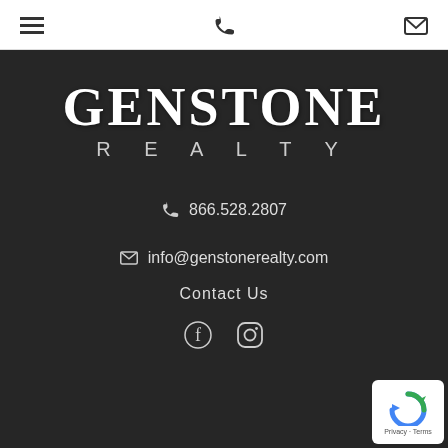Navigation bar with hamburger menu, phone icon, and email icon
[Figure (logo): Genstone Realty logo in white text on dark background]
866.528.2807
info@genstonerealty.com
Contact Us
[Figure (infographic): Facebook and Instagram social media icons in white]